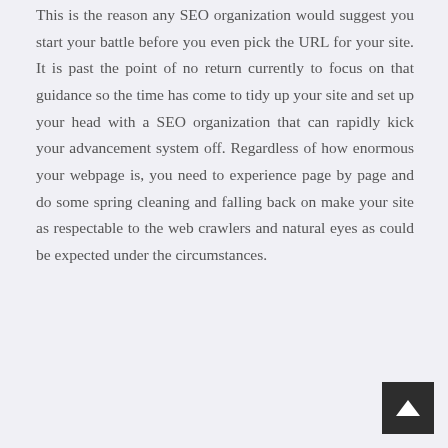This is the reason any SEO organization would suggest you start your battle before you even pick the URL for your site. It is past the point of no return currently to focus on that guidance so the time has come to tidy up your site and set up your head with a SEO organization that can rapidly kick your advancement system off. Regardless of how enormous your webpage is, you need to experience page by page and do some spring cleaning and falling back on make your site as respectable to the web crawlers and natural eyes as could be expected under the circumstances.